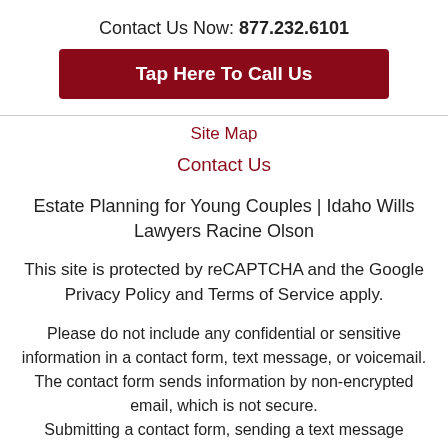Contact Us Now: 877.232.6101
Tap Here To Call Us
Site Map
Contact Us
Estate Planning for Young Couples | Idaho Wills Lawyers Racine Olson
This site is protected by reCAPTCHA and the Google Privacy Policy and Terms of Service apply.
Please do not include any confidential or sensitive information in a contact form, text message, or voicemail. The contact form sends information by non-encrypted email, which is not secure.
Submitting a contact form, sending a text message